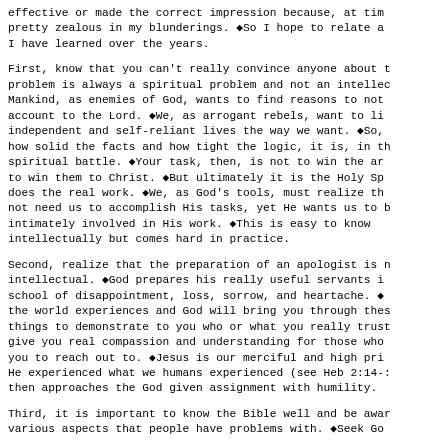effective or made the correct impression because, at time pretty zealous in my blunderings. ◆So I hope to relate a I have learned over the years.
First, know that you can't really convince anyone about t problem is always a spiritual problem and not an intellec Mankind, as enemies of God, wants to find reasons to not account to the Lord. ◆We, as arrogant rebels, want to li independent and self-reliant lives the way we want. ◆So, how solid the facts and how tight the logic, it is, in th spiritual battle. ◆Your task, then, is not to win the ar to win them to Christ. ◆But ultimately it is the Holy Sp does the real work. ◆We, as God's tools, must realize th not need us to accomplish His tasks, yet He wants us to b intimately involved in His work. ◆This is easy to know intellectually but comes hard in practice.
Second, realize that the preparation of an apologist is m intellectual. ◆God prepares his really useful servants i school of disappointment, loss, sorrow, and heartache. ◆ the world experiences and God will bring you through thes things to demonstrate to you who or what you really trust give you real compassion and understanding for those who you to reach out to. ◆Jesus is our merciful and high pri He experienced what we humans experienced (see Heb 2:14-: then approaches the God given assignment with humility.
Third, it is important to know the Bible well and be awa various aspects that people have problems with. ◆Seek Go